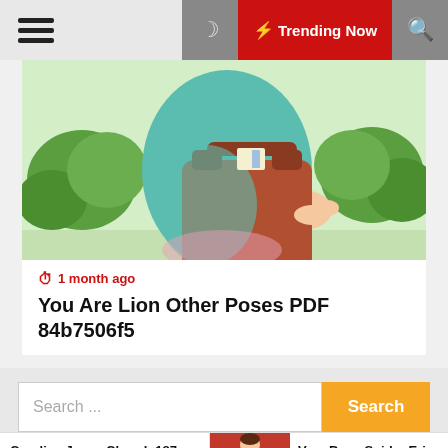☰  🌙  ⚡ Trending Now  🔍
[Figure (illustration): Illustration of a person holding a large brown handbag, wearing a teal/turquoise outfit, with green trees in the background]
⏱ 1 month ago
You Are Lion Other Poses PDF 84b7506f5
Search ...
Search
Caroline Jayne Church 187
[Figure (photo): Woman in red dress posing]
Very Busy Spider Eric Carle PD1 207b2ab9e